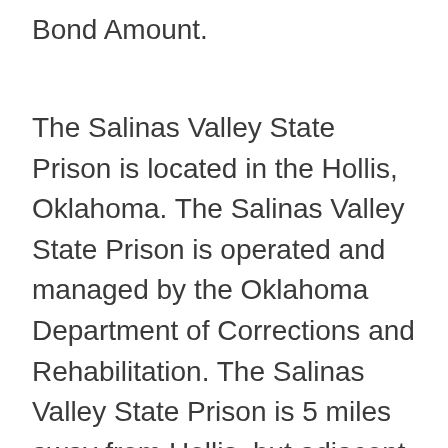Bond Amount.
The Salinas Valley State Prison is located in the Hollis, Oklahoma. The Salinas Valley State Prison is operated and managed by the Oklahoma Department of Corrections and Rehabilitation. The Salinas Valley State Prison is 5 miles away from Hollis, but adjacent to the Correctional Training Facility also